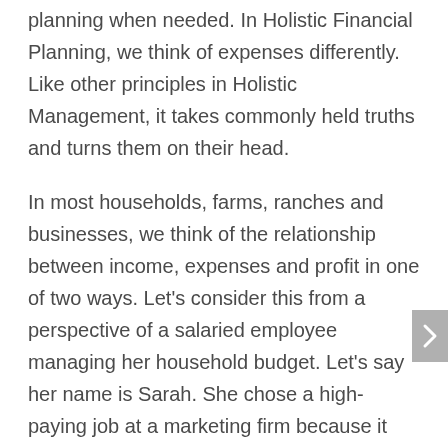planning when needed. In Holistic Financial Planning, we think of expenses differently. Like other principles in Holistic Management, it takes commonly held truths and turns them on their head.
In most households, farms, ranches and businesses, we think of the relationship between income, expenses and profit in one of two ways. Let's consider this from a perspective of a salaried employee managing her household budget. Let's say her name is Sarah. She chose a high-paying job at a marketing firm because it supported the lifestyle she wanted. As her salary increased through the years, she allowed her expenses to rise along with it, so the money she was able to save, or set aside as profit, never